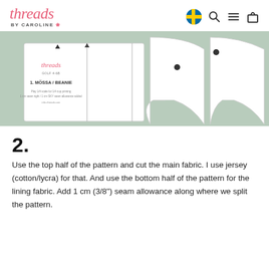threads BY CAROLINE
[Figure (photo): Photo of sewing pattern pieces laid on a light green background. A rectangular pattern card labeled '1. MÖSSA / BEANIE' with the Threads by Caroline logo is visible on the left, alongside white cut-out pattern pieces on the right.]
2.
Use the top half of the pattern and cut the main fabric. I use jersey (cotton/lycra) for that. And use the bottom half of the pattern for the lining fabric. Add 1 cm (3/8") seam allowance along where we split the pattern.